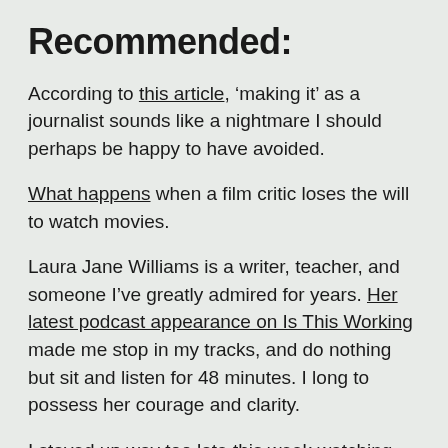Recommended:
According to this article, ‘making it’ as a journalist sounds like a nightmare I should perhaps be happy to have avoided.
What happens when a film critic loses the will to watch movies.
Laura Jane Williams is a writer, teacher, and someone I’ve greatly admired for years. Her latest podcast appearance on Is This Working made me stop in my tracks, and do nothing but sit and listen for 48 minutes. I long to possess her courage and clarity.
I stayed up way too late this week watching Normal People. It will break your heart, but it’s worth it.